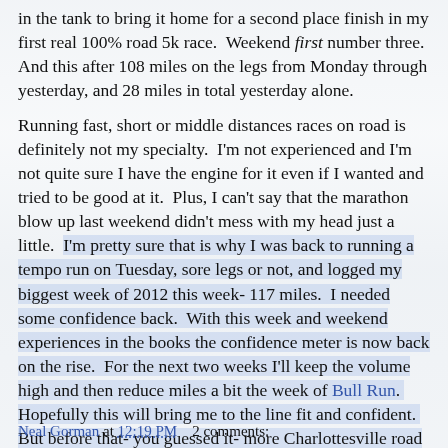in the tank to bring it home for a second place finish in my first real 100% road 5k race. Weekend first number three. And this after 108 miles on the legs from Monday through yesterday, and 28 miles in total yesterday alone.
Running fast, short or middle distances races on road is definitely not my specialty. I'm not experienced and I'm not quite sure I have the engine for it even if I wanted and tried to be good at it. Plus, I can't say that the marathon blow up last weekend didn't mess with my head just a little. I'm pretty sure that is why I was back to running a tempo run on Tuesday, sore legs or not, and logged my biggest week of 2012 this week- 117 miles. I needed some confidence back. With this week and weekend experiences in the books the confidence meter is now back on the rise. For the next two weeks I'll keep the volume high and then reduce miles a bit the week of Bull Run. Hopefully this will bring me to the line fit and confident. But before that- you guessed it- more Charlottesville road racing. Next weekend is the 10 miler. As a newbie to town, I'm pretty sure the Charlottesville 10 miler is the annual event for elite and open field competition. I guess its time for another spanking.
Neal Gorman at 12:19 PM   2 comments: